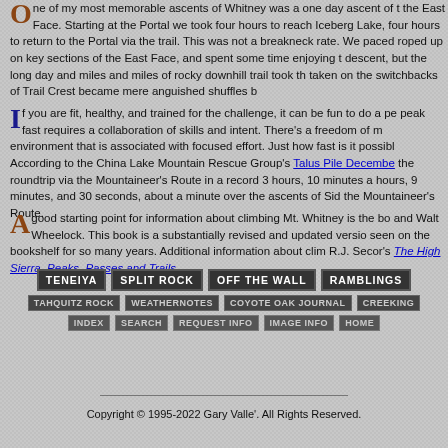One of my most memorable ascents of Whitney was a one day ascent of the East Face. Starting at the Portal we took four hours to reach Iceberg Lake, four hours to return to the Portal via the trail. This was not a breakneck rate. We paced ourselves, roped up on key sections of the East Face, and spent some time enjoying the descent, but the long day and miles and miles of rocky downhill trail took their toll. Steps taken on the switchbacks of Trail Crest became mere anguished shuffles by the end.
If you are fit, healthy, and trained for the challenge, it can be fun to do a peak fast requires a collaboration of skills and intent. There's a freedom of movement in an environment that is associated with focused effort. Just how fast is it possible to go? According to the China Lake Mountain Rescue Group's Talus Pile December... the roundtrip via the Mountaineer's Route in a record 3 hours, 10 minutes and... hours, 9 minutes, and 30 seconds, about a minute over the ascents of Sid... the Mountaineer's Route.
A good starting point for information about climbing Mt. Whitney is the book by... and Walt Wheelock. This book is a substantially revised and updated version... seen on the bookshelf for so many years. Additional information about climbing... R.J. Secor's The High Sierra, Peaks, Passes and Trails.
[Figure (other): Navigation bar with buttons: TENEIYA, SPLIT ROCK, OFF THE WALL, RAMBLINGS, TAHQUITZ ROCK, WEATHERNOTES, COYOTE OAK JOURNAL, CREEKING, INDEX, SEARCH, REQUEST INFO, IMAGE INFO, HOME]
Copyright © 1995-2022 Gary Valle'. All Rights Reserved.